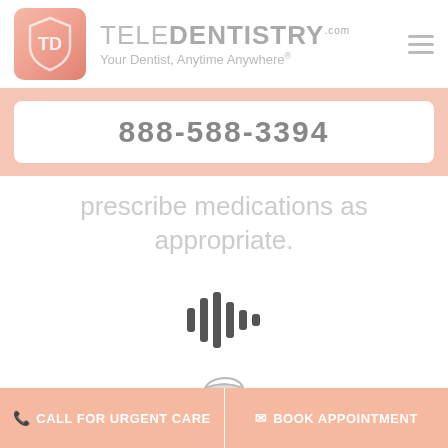[Figure (logo): TeleDentistry logo with shield icon and tagline 'Your Dentist, Anytime Anywhere']
888-588-3394
prescribe medications as appropriate.
[Figure (illustration): Sound wave / audio waveform icon in dark gray]
[Figure (illustration): Dentist/doctor figure outline icon in light gray]
CALL FOR URGENT CARE
BOOK APPOINTMENT